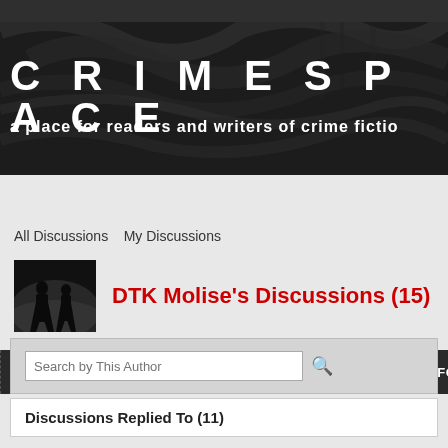[Figure (screenshot): CrimeSpace website banner with graffiti background, site title CRIMESPACE and subtitle 'a place for readers and writers of crime fiction']
CRIMESPACE
a place for readers and writers of crime fiction
MAIN | MY PAGE | MEMBERS | PHOTOS | VIDEOS | FORUM
All Discussions   My Discussions
[Figure (photo): Small profile thumbnail showing two dark silhouette figures against misty/foggy background in black and white]
DTK Molise's Discussions (15)
Search by This Author
Discussions Replied To (11)